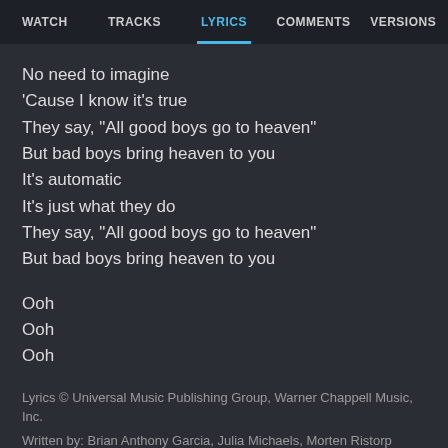WATCH   TRACKS   LYRICS   COMMENTS   VERSIONS
No need to imagine
'Cause I know it's true
They say, "All good boys go to heaven"
But bad boys bring heaven to you
It's automatic
It's just what they do
They say, "All good boys go to heaven"
But bad boys bring heaven to you
Ooh
Ooh
Ooh
Lyrics © Universal Music Publishing Group, Warner Chappell Music, Inc.
Written by: Brian Anthony Garcia, Julia Michaels, Morten Ristorp Jensen, Tayla Parx, Uzoechi Osisioma Emenike